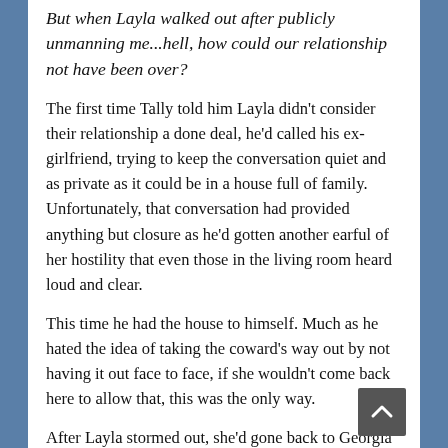But when Layla walked out after publicly unmanning me...hell, how could our relationship not have been over?
The first time Tally told him Layla didn't consider their relationship a done deal, he'd called his ex-girlfriend, trying to keep the conversation quiet and as private as it could be in a house full of family. Unfortunately, that conversation had provided anything but closure as he'd gotten another earful of her hostility that even those in the living room heard loud and clear.
This time he had the house to himself. Much as he hated the idea of taking the coward's way out by not having it out face to face, if she wouldn't come back here to allow that, this was the only way.
After Layla stormed out, she'd gone back to Georgia to live with her mama, close enough she could check on her nephew Jack while he recovered. That she'd gotten a job a few weeks into their separation had seemed to Ben like the clincher to their relationship. It